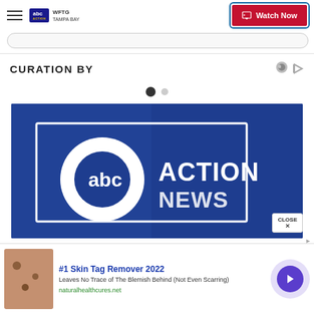WFTG TAMPA BAY | abc Action News | Watch Now
CURATION BY
[Figure (other): Two pagination dots: one filled dark, one light gray]
[Figure (logo): ABC Action News logo on dark blue background]
[Figure (photo): Advertisement: skin with skin tags image]
#1 Skin Tag Remover 2022
Leaves No Trace of The Blemish Behind (Not Even Scarring)
naturalhealthcures.net